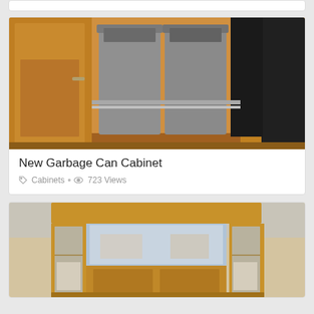[Figure (photo): Pull-out garbage can cabinet with two gray bins inside wood kitchen cabinetry]
New Garbage Can Cabinet
Cabinets • 723 Views
[Figure (photo): Wood and glass display cabinet/hutch with mirrored back panels in a store setting]